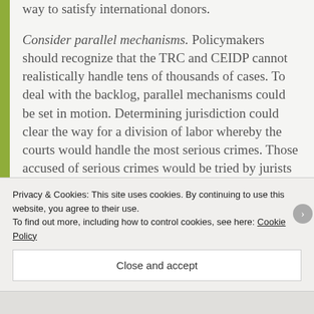way to satisfy international donors.
Consider parallel mechanisms. Policymakers should recognize that the TRC and CEIDP cannot realistically handle tens of thousands of cases. To deal with the backlog, parallel mechanisms could be set in motion. Determining jurisdiction could clear the way for a division of labor whereby the courts would handle the most serious crimes. Those accused of serious crimes would be tried by jurists well versed in crimes arising from armed conflict. Victims' families would benefit by seeing
Privacy & Cookies: This site uses cookies. By continuing to use this website, you agree to their use.
To find out more, including how to control cookies, see here: Cookie Policy
Close and accept